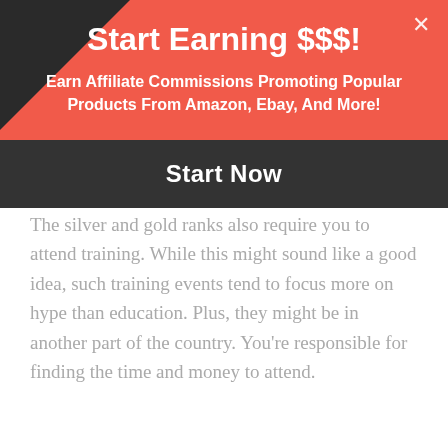The silver and gold ranks also require you to attend training. While this might sound like a good idea, such training events tend to focus more on hype than education. Plus, they might be in another part of the country. You're responsible for finding the time and money to attend.
Start Earning $$$!
Earn Affiliate Commissions Promoting Popular Products From Amazon, Ebay, And More!
Start Now